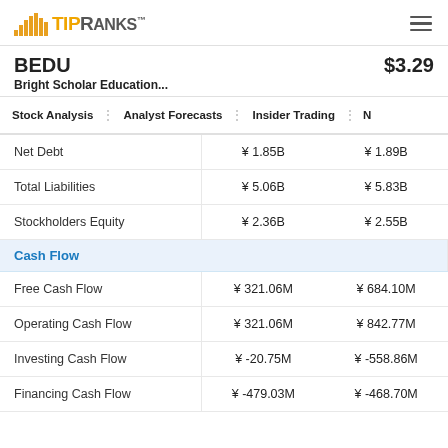TipRanks
BEDU   $3.29
Bright Scholar Education...
Stock Analysis  :  Analyst Forecasts  :  Insider Trading  :  N
|  | Col1 | Col2 |
| --- | --- | --- |
| Net Debt | ¥ 1.85B | ¥ 1.89B |
| Total Liabilities | ¥ 5.06B | ¥ 5.83B |
| Stockholders Equity | ¥ 2.36B | ¥ 2.55B |
| Cash Flow |  |  |
| Free Cash Flow | ¥ 321.06M | ¥ 684.10M |
| Operating Cash Flow | ¥ 321.06M | ¥ 842.77M |
| Investing Cash Flow | ¥ -20.75M | ¥ -558.86M |
| Financing Cash Flow | ¥ -479.03M | ¥ -468.70M |